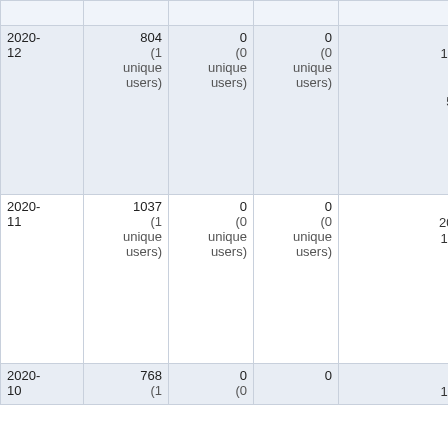| Date | Views | Edits | Contributors | Top pages |
| --- | --- | --- | --- | --- |
|  |  |  |  | 23 InstallingAnd... |
| 2020-12 | 804
(1 unique users) | 0
(0 unique users) | 0
(0 unique users) | 142 WebHome
125 WebCreateN...
74 InstallingAnd...
62 InstallingAnd...
56 WebPreferen...
40 InstallingAnd...
39 InstallingAnd...
32 OpenStackU...
29 Installazione...
28 InstallingAnd... |
| 2020-11 | 1037
(1 unique users) | 0
(0 unique users) | 0
(0 unique users) | 236 WebHome
200 WebPreferen...
175 WebCreateN...
45 InstallingAnd...
36 InstallingAnd...
27 InstallingAnd...
27 InstallingAnd...
25 InstallingAnd...
25 InstallingAnd...
24 WebSearch |
| 2020-10 | 768
(1... | 0
(0... | 0 | 145 WebHome
110 WebCreateN... |